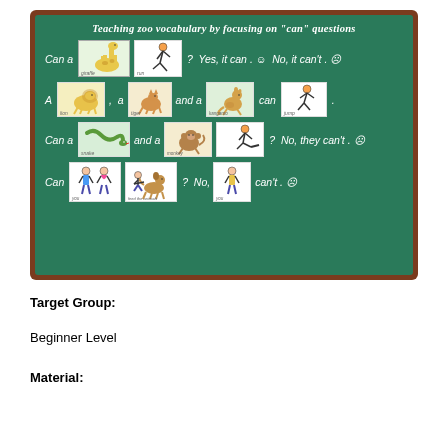[Figure (illustration): A green chalkboard showing zoo vocabulary lesson using 'can' questions. Board title: 'Teaching zoo vocabulary by focusing on "can" questions'. Row 1: 'Can a [giraffe picture] [running person picture] ? Yes, it can. :) No, it can't. :('. Row 2: 'A [lion picture] , a [cat picture] and a [kangaroo picture] can [jumping picture] .'. Row 3: 'Can a [snake picture] and a [monkey picture] [kicking person picture] ? No, they can't. :('. Row 4: 'Can [two people picture] [dog picture] ? No, [boy picture] can't. :(']
Target Group:
Beginner Level
Material: